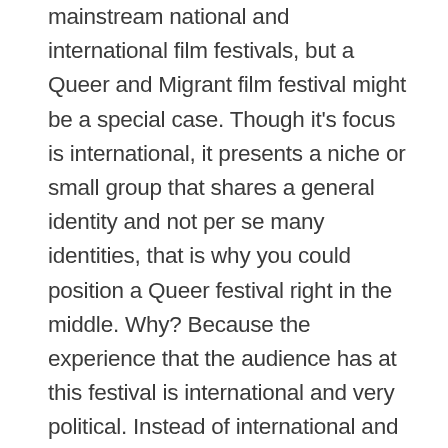mainstream national and international film festivals, but a Queer and Migrant film festival might be a special case. Though it's focus is international, it presents a niche or small group that shares a general identity and not per se many identities, that is why you could position a Queer festival right in the middle. Why? Because the experience that the audience has at this festival is international and very political. Instead of international and full of quality and 'taste'. The sense of a focus on aesthetics, quality or 'taste' is kind of absent. The film Mondial 2010 is aesthetically not pleasant as it is filmed without any mainstream cinematic aesthetically artful approaches. It is literally a home videotaped event, but it contains a politically strong message. Oriented on the other hand is aesthetically beautiful. Although at times it does